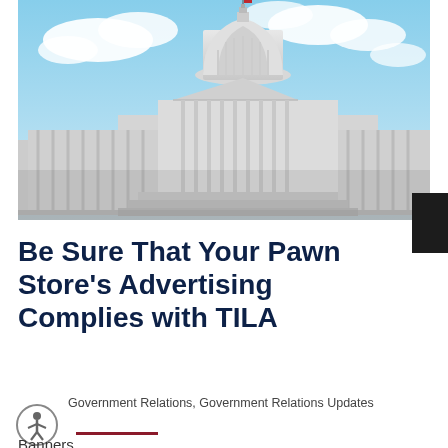[Figure (photo): Photograph of the United States Capitol building with blue sky and clouds in the background]
Be Sure That Your Pawn Store's Advertising Complies with TILA
Government Relations, Government Relations Updates
Banners